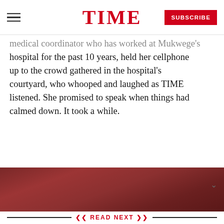TIME
medical coordinator who has worked at Mukwege's hospital for the past 10 years, held her cellphone up to the crowd gathered in the hospital's courtyard, who whooped and laughed as TIME listened. She promised to speak when things had calmed down. It took a while.
[Figure (photo): A blurred reddish-brown photograph, partially visible, showing a crowd or event scene.]
READ NEXT
[Figure (photo): Thumbnail photo of Denis Mukwege and Nadia Murad side by side against a blue background with gold stars (EU flag motif).]
Denis Mukwege and Nadia Murad Win 2018 Nobel Peace Prize